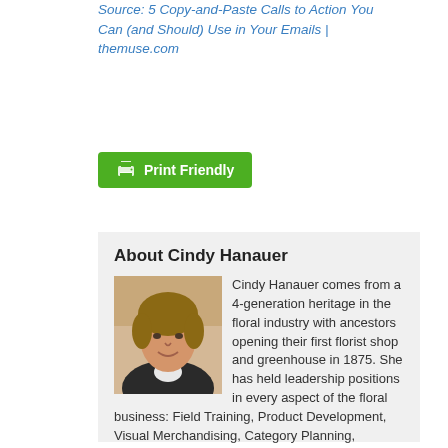Source: 5 Copy-and-Paste Calls to Action You Can (and Should) Use in Your Emails | themuse.com
[Figure (other): Green 'Print Friendly' button with printer icon]
About Cindy Hanauer
[Figure (photo): Headshot photo of Cindy Hanauer, a woman with short blonde-brown hair wearing a dark jacket]
Cindy Hanauer comes from a 4-generation heritage in the floral industry with ancestors opening their first florist shop and greenhouse in 1875. She has held leadership positions in every aspect of the floral business: Field Training, Product Development, Visual Merchandising, Category Planning, Financial Strategy, Quality Assurance,